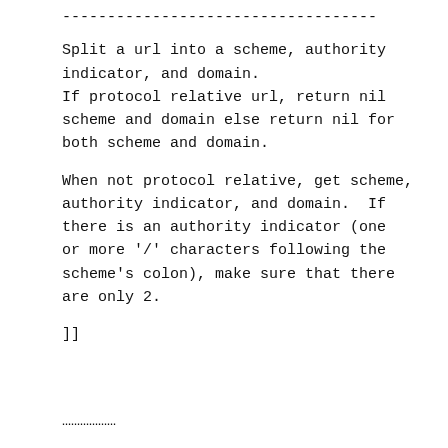-----------------------------------
Split a url into a scheme, authority indicator, and domain.
If protocol relative url, return nil scheme and domain else return nil for both scheme and domain.
When not protocol relative, get scheme, authority indicator, and domain.  If there is an authority indicator (one or more '/' characters following the scheme's colon), make sure that there are only 2.
]]
...